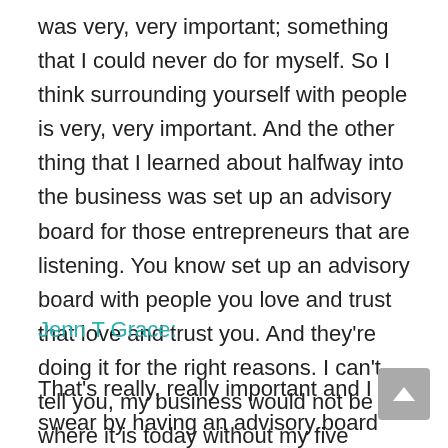was very, very important; something that I could never do for myself. So I think surrounding yourself with people is very, very important. And the other thing that I learned about halfway into the business was set up an advisory board for those entrepreneurs that are listening. You know set up an advisory board with people you love and trust that love and trust you. And they're doing it for the right reasons. I can't tell you, my business would not be where it is today without my five trusted advisory board members.
Jenn T Grace:
That's really, really important and I swear by having an advisory board myself. Because like you're saying, it's just surrounding yourself with